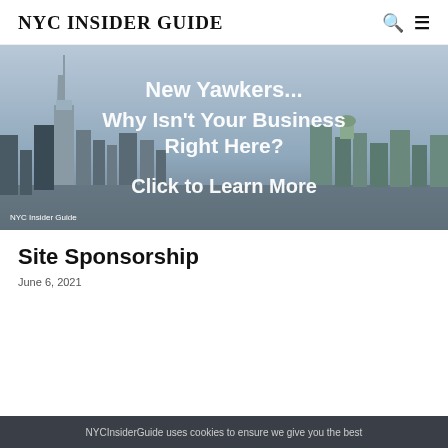NYC INSIDER GUIDE
[Figure (photo): NYC skyline banner with white overlay text: 'New Yawkers... Why Isn't Your Business Right Here? Click to Learn More' and 'NYC Insider Guide' label at bottom left]
Site Sponsorship
June 6, 2021
NYCInsiderGuide uses cookies to ensure we give you the best